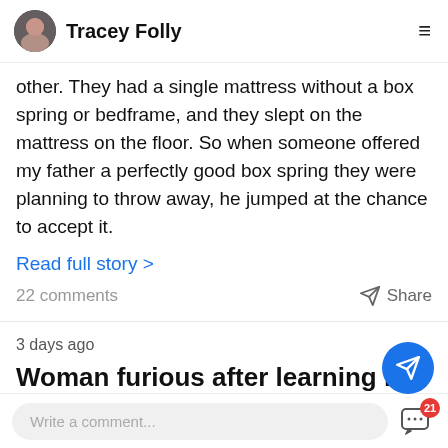Tracey Folly
other. They had a single mattress without a box spring or bedframe, and they slept on the mattress on the floor. So when someone offered my father a perfectly good box spring they were planning to throw away, he jumped at the chance to accept it.
Read full story >
22 comments	Share
3 days ago
Woman furious after learning her husband called her 'repulsive,' and tried ghosting her